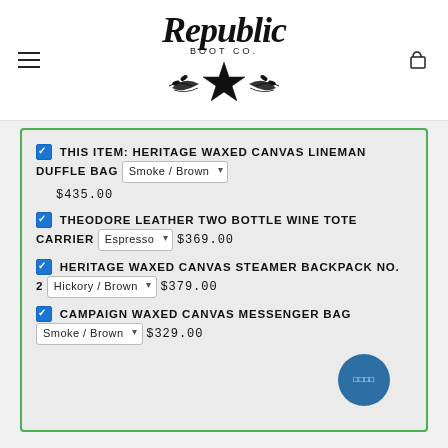[Figure (logo): Republic Boot Co. logo with cursive script text and decorative star emblem]
THIS ITEM: HERITAGE WAXED CANVAS LINEMAN DUFFLE BAG  Smoke / Brown  $435.00
THEODORE LEATHER TWO BOTTLE WINE TOTE CARRIER  Espresso  $369.00
HERITAGE WAXED CANVAS STEAMER BACKPACK NO. 2  Hickory / Brown  $379.00
CAMPAIGN WAXED CANVAS MESSENGER BAG  Smoke / Brown  $329.00